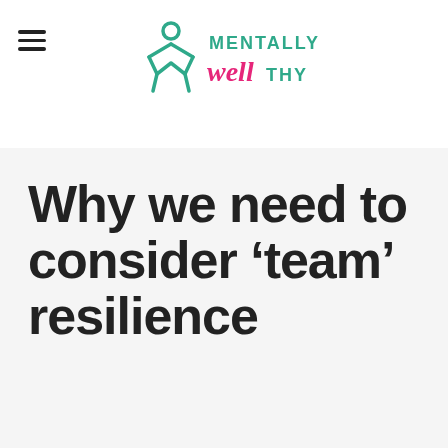[Figure (logo): Mentally Wealthy logo with teal human figure icon and stylized 'well' in pink script]
Why we need to consider 'team' resilience